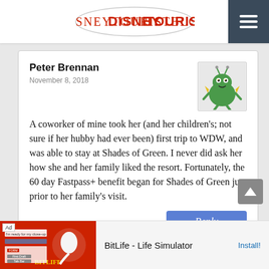DisneyTouristBlog
Peter Brennan
November 8, 2018
A coworker of mine took her (and her children’s; not sure if her hubby had ever been) first trip to WDW, and was able to stay at Shades of Green. I never did ask her how she and her family liked the resort. Fortunately, the 60 day Fastpass+ benefit began for Shades of Green just prior to her family’s visit.
« Older Comments
Leave a Reply to Tia
Cancel reply
[Figure (screenshot): Ad banner showing BitLife - Life Simulator advertisement with red background and Install button]